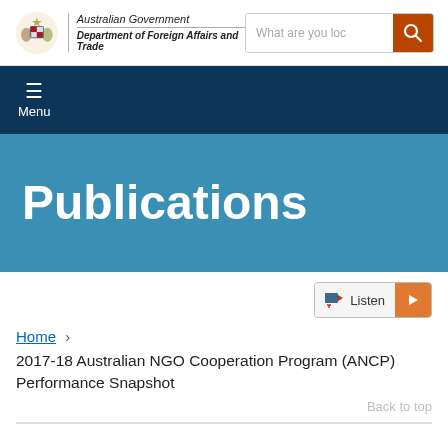[Figure (logo): Australian Government Department of Foreign Affairs and Trade logo with coat of arms]
[Figure (screenshot): Search bar with text 'What are you loc' and orange search button with magnifying glass icon]
[Figure (screenshot): Dark navy navigation bar with hamburger menu icon and Menu label]
Publications
[Figure (screenshot): Listen button with play control]
Home › 2017-18 Australian NGO Cooperation Program (ANCP) Performance Snapshot
Back to top